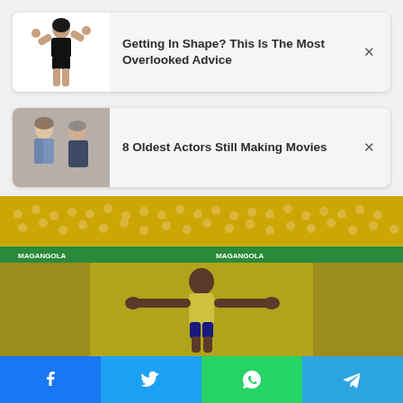[Figure (infographic): Ad card: fitness woman flexing with text 'Getting In Shape? This Is The Most Overlooked Advice' and close button]
[Figure (infographic): Ad card: two older people posing with text '8 Oldest Actors Still Making Movies' and close button]
[Figure (photo): Soccer player (Neymar) in yellow stadium with arms spread wide, yellow crowd in background]
[Figure (infographic): Social share bar with Facebook, Twitter, WhatsApp, and Telegram buttons]